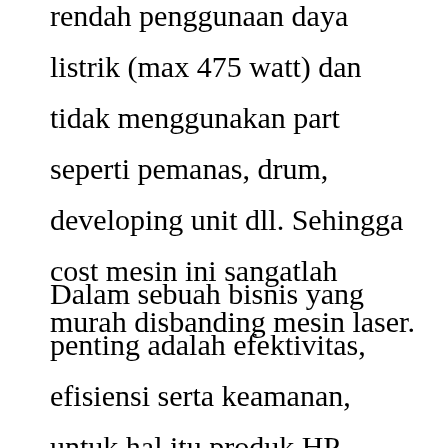rendah penggunaan daya listrik (max 475 watt) dan tidak menggunakan part seperti pemanas, drum, developing unit dll. Sehingga cost mesin ini sangatlah murah disbanding mesin laser.
Dalam sebuah bisnis yang penting adalah efektivitas, efisiensi serta keamanan, untuk hal itu produk HP PageWide 77940dn ini memiliki semua hal yang penting tersebut sehingga dapat disebut mesin ini merupakan